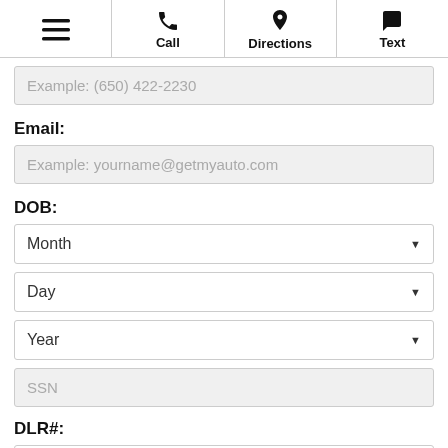Menu | Call | Directions | Text
Example: (650) 422-2230
Email:
Example: yourname@getmyauto.com
DOB:
Month
Day
Year
SSN
DLR#: